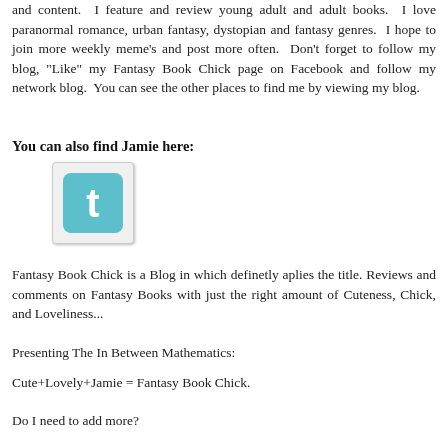and content.  I feature and review young adult and adult books.  I love paranormal romance, urban fantasy, dystopian and fantasy genres.  I hope to join more weekly meme's and post more often.  Don't forget to follow my blog, "Like" my Fantasy Book Chick page on Facebook and follow my network blog.  You can see the other places to find me by viewing my blog.
You can also find Jamie here:
[Figure (logo): Twitter bird logo icon in teal/cyan color on a light gray rounded square button]
Fantasy Book Chick is a Blog in which definetly aplies the title. Reviews and comments on Fantasy Books with just the right amount of Cuteness, Chick, and Loveliness...
Presenting The In Between Mathematics:
Cute+Lovely+Jamie = Fantasy Book Chick.
Do I need to add more?